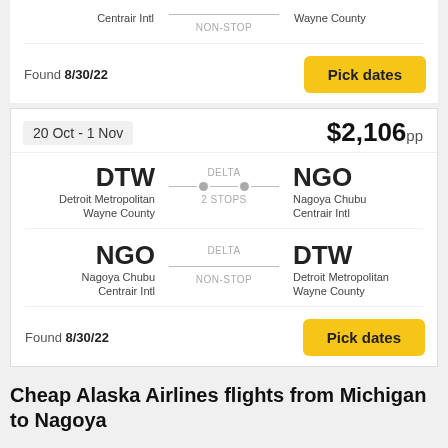Centrair Intl | NON-STOP | Wayne County
Found 8/30/22
Pick dates
20 Oct - 1 Nov
$2,106pp
DTW Detroit Metropolitan Wayne County | DELTA 2 STOPS | NGO Nagoya Chubu Centrair Intl
NGO Nagoya Chubu Centrair Intl | DELTA NON-STOP | DTW Detroit Metropolitan Wayne County
Found 8/30/22
Pick dates
Cheap Alaska Airlines flights from Michigan to Nagoya